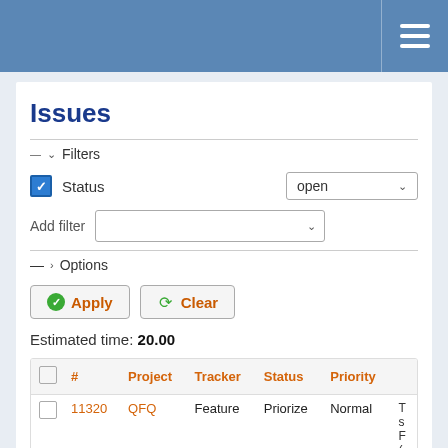Issues — navigation header with hamburger menu
Issues
Filters — Status: open
Add filter
Options
Apply   Clear
Estimated time: 20.00
|  | # | Project | Tracker | Status | Priority |  |
| --- | --- | --- | --- | --- | --- | --- |
|  | 11320 | QFQ | Feature | Priorize | Normal | T s F ( h |
|  | 11339 | QFQ | Bug | New | Normal | D |